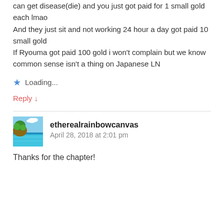can get disease(die) and you just got paid for 1 small gold each lmao
And they just sit and not working 24 hour a day got paid 10 small gold
If Ryouma got paid 100 gold i won't complain but we know common sense isn't a thing on Japanese LN
Loading...
Reply ↓
etherealrainbowcanvas
April 28, 2018 at 2:01 pm
Thanks for the chapter!